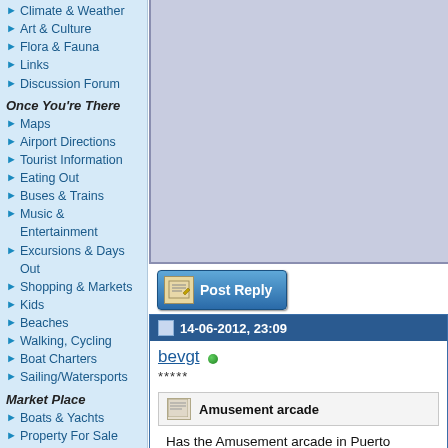Climate & Weather
Art & Culture
Flora & Fauna
Links
Discussion Forum
Once You're There
Maps
Airport Directions
Tourist Information
Eating Out
Buses & Trains
Music & Entertainment
Excursions & Days Out
Shopping & Markets
Kids
Beaches
Walking, Cycling
Boat Charters
Sailing/Watersports
Market Place
Boats & Yachts
Property For Sale
Businesses For Sale
Property Services
Local Services
MouseMats & T-shirts
Computers
Internet Services
Virus Protection
[Figure (other): Gray/blue advertisement box placeholder]
[Figure (other): Post Reply button with pencil/paper icon]
14-06-2012, 23:09
bevgt
*****
Amusement arcade
Has the Amusement arcade in Puerto